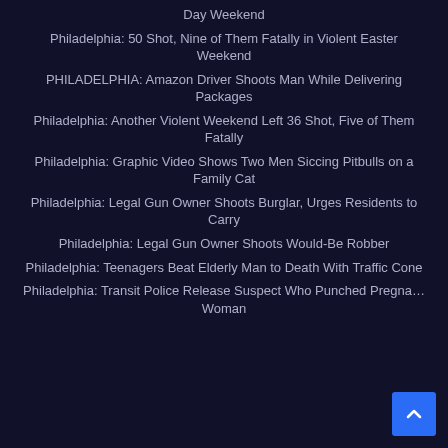Day Weekend
Philadelphia: 50 Shot, Nine of Them Fatally in Violent Easter Weekend
PHILADELPHIA: Amazon Driver Shoots Man While Delivering Packages
Philadelphia: Another Violent Weekend Left 36 Shot, Five of Them Fatally
Philadelphia: Graphic Video Shows Two Men Siccing Pitbulls on a Family Cat
Philadelphia: Legal Gun Owner Shoots Burglar, Urges Residents to Carry
Philadelphia: Legal Gun Owner Shoots Would-Be Robber
Philadelphia: Teenagers Beat Elderly Man to Death With Traffic Cone
Philadelphia: Transit Police Release Suspect Who Punched Pregnant Woman